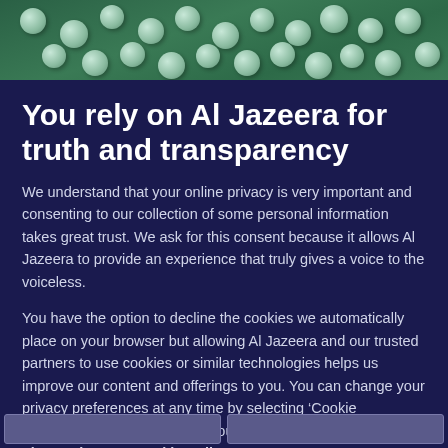[Figure (photo): Microscopic image of small round white/green pills or beads scattered on a green textured background]
You rely on Al Jazeera for truth and transparency
We understand that your online privacy is very important and consenting to our collection of some personal information takes great trust. We ask for this consent because it allows Al Jazeera to provide an experience that truly gives a voice to the voiceless.
You have the option to decline the cookies we automatically place on your browser but allowing Al Jazeera and our trusted partners to use cookies or similar technologies helps us improve our content and offerings to you. You can change your privacy preferences at any time by selecting ‘Cookie preferences’ at the bottom of your screen. To learn more, please view our Cookie Policy.